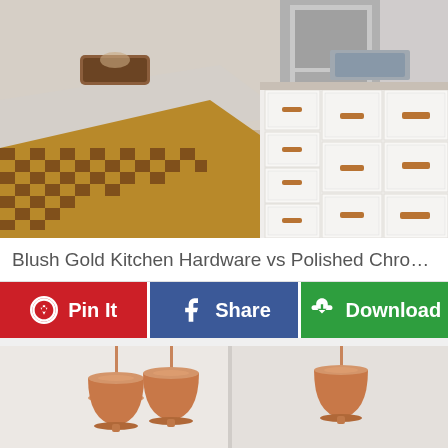[Figure (photo): Kitchen photo showing white cabinets with copper/blush gold hardware handles and drawers, marble/granite countertop, checkered wood cutting board on island, stainless steel appliances in background]
Blush Gold Kitchen Hardware vs Polished Chrome Kitc...
[Figure (infographic): Action bar with three buttons: Pin It (red, Pinterest logo), Share (blue, Facebook logo), Download (green, download cloud icon)]
[Figure (photo): Pendant lights with copper/rose gold bell-shaped shades hanging from ceiling, white background]